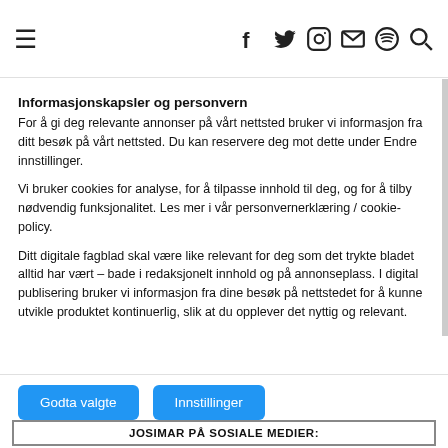≡  f  twitter  instagram  mail  spotify  search
Informasjonskapsler og personvern
For å gi deg relevante annonser på vårt nettsted bruker vi informasjon fra ditt besøk på vårt nettsted. Du kan reservere deg mot dette under Endre innstillinger.

Vi bruker cookies for analyse, for å tilpasse innhold til deg, og for å tilby nødvendig funksjonalitet. Les mer i vår personvernerklæring / cookie-policy.

Ditt digitale fagblad skal være like relevant for deg som det trykte bladet alltid har vært – bade i redaksjonelt innhold og på annonseplass. I digital publisering bruker vi informasjon fra dine besøk på nettstedet for å kunne utvikle produktet kontinuerlig, slik at du opplever det nyttig og relevant.
Godta valgte | Innstillinger
JOSIMAR PÅ SOSIALE MEDIER: